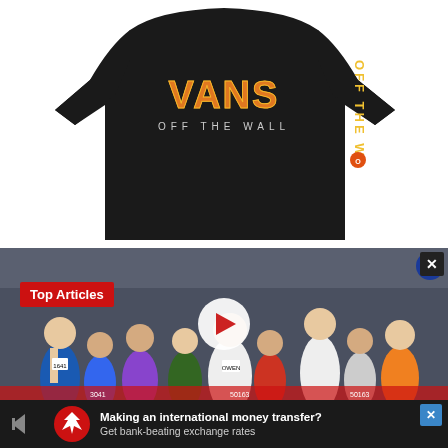[Figure (photo): Black Vans Off The Wall long sleeve shirt with orange/yellow tiger-print VANS logo on chest and text down the sleeve]
[Figure (photo): Video thumbnail showing marathon runners with 'Top Articles' red badge overlay and a play button in the center. An X close button at bottom right.]
Top Articles
[Figure (photo): Advertisement bar at bottom: Making an international money transfer? Get bank-beating exchange rates]
Making an international money transfer? Get bank-beating exchange rates